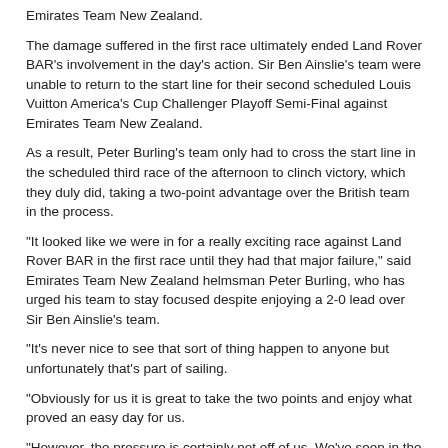Emirates Team New Zealand.
The damage suffered in the first race ultimately ended Land Rover BAR’s involvement in the day’s action. Sir Ben Ainslie’s team were unable to return to the start line for their second scheduled Louis Vuitton America’s Cup Challenger Playoff Semi-Final against Emirates Team New Zealand.
As a result, Peter Burling’s team only had to cross the start line in the scheduled third race of the afternoon to clinch victory, which they duly did, taking a two-point advantage over the British team in the process.
“It looked like we were in for a really exciting race against Land Rover BAR in the first race until they had that major failure,” said Emirates Team New Zealand helmsman Peter Burling, who has urged his team to stay focused despite enjoying a 2-0 lead over Sir Ben Ainslie’s team.
“It’s never nice to see that sort of thing happen to anyone but unfortunately that’s part of sailing.
“Obviously for us it is great to take the two points and enjoy what proved an easy day for us.
“However, the pressure is certainly not off of us. We’ve seen in the races so far that the teams are so close and things can change quickly so we have to stay focused going forward.”